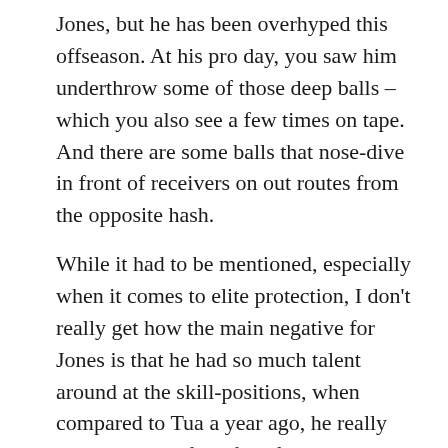Jones, but he has been overhyped this offseason. At his pro day, you saw him underthrow some of those deep balls – which you also see a few times on tape. And there are some balls that nose-dive in front of receivers on out routes from the opposite hash.
While it had to be mentioned, especially when it comes to elite protection, I don't really get how the main negative for Jones is that he had so much talent around at the skill-positions, when compared to Tua a year ago, he really only had one of the four first-round receivers